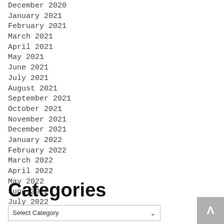December 2020
January 2021
February 2021
March 2021
April 2021
May 2021
June 2021
July 2021
August 2021
September 2021
October 2021
November 2021
December 2021
January 2022
February 2022
March 2022
April 2022
May 2022
June 2022
July 2022
August 2022
Categories
Select Category